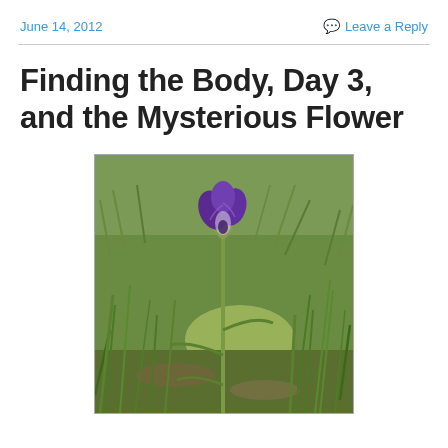June 14, 2012
Leave a Reply
Finding the Body, Day 3, and the Mysterious Flower
[Figure (photo): A purple iris flower growing on a slender green stem surrounded by green grass, photographed outdoors in natural light.]